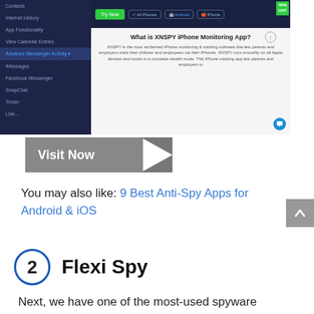[Figure (screenshot): Screenshot of XNSPY iPhone Monitoring App website showing sidebar navigation with items like Contacts, Internet History, App Functionality, View Calendar Entries, Advance Messenger Activity (highlighted), iMessages, Facebook Messenger, SnapChat, Tinder. Main content shows a header bar with Try Now button and platform buttons, along with article title 'What is XNSPY iPhone Monitoring App?' and descriptive text. A 40% OFF badge is visible top right, and a chat icon bottom right.]
[Figure (other): Gray 'Visit Now' button with arrow chevron pointing right]
You may also like: 9 Best Anti-Spy Apps for Android & iOS
2 Flexi Spy
Next, we have one of the most-used spyware